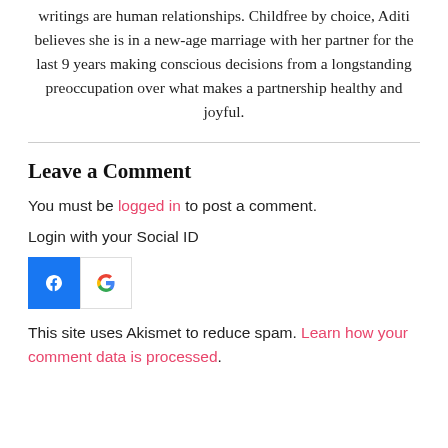writings are human relationships. Childfree by choice, Aditi believes she is in a new-age marriage with her partner for the last 9 years making conscious decisions from a longstanding preoccupation over what makes a partnership healthy and joyful.
Leave a Comment
You must be logged in to post a comment.
Login with your Social ID
[Figure (logo): Facebook and Google social login icons]
This site uses Akismet to reduce spam. Learn how your comment data is processed.